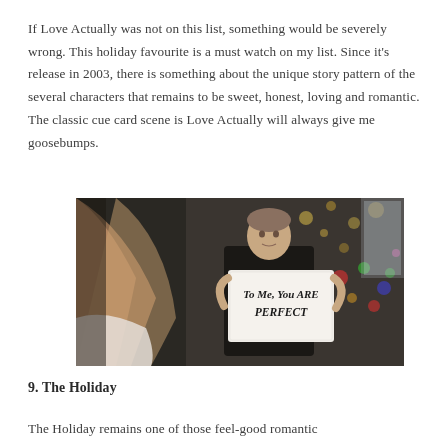If Love Actually was not on this list, something would be severely wrong. This holiday favourite is a must watch on my list. Since it's release in 2003, there is something about the unique story pattern of the several characters that remains to be sweet, honest, loving and romantic. The classic cue card scene is Love Actually will always give me goosebumps.
[Figure (photo): Scene from Love Actually showing a man holding a cue card reading 'TO ME, YOU ARE PERFECT' to a woman with long hair seen from behind, with Christmas lights visible in the background.]
9. The Holiday
The Holiday remains one of those feel-good romantic